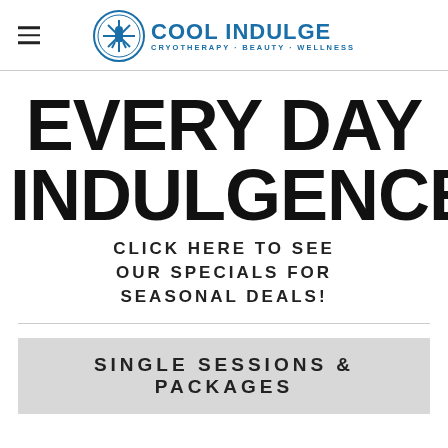Cool Indulge — Cryotherapy · Beauty · Wellness
EVERY DAY INDULGENCE
CLICK HERE TO SEE OUR SPECIALS FOR SEASONAL DEALS!
SINGLE SESSIONS & PACKAGES